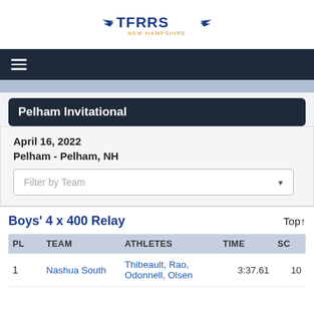[Figure (logo): TFRRS New Hampshire logo with wing motifs]
Pelham Invitational
April 16, 2022
Pelham - Pelham, NH
Boys' 4 x 400 Relay
| PL | TEAM | ATHLETES | TIME | SC |
| --- | --- | --- | --- | --- |
| 1 | Nashua South | Thibeault, Rao, Odonnell, Olsen | 3:37.61 | 10 |